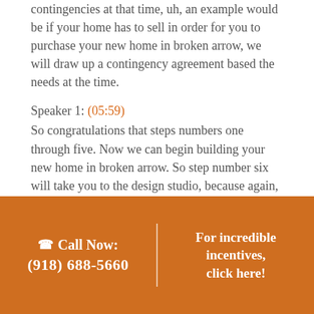contingencies at that time, uh, an example would be if your home has to sell in order for you to purchase your new home in broken arrow, we will draw up a contingency agreement based the needs at the time.
Speaker 1: (05:59)
So congratulations that steps numbers one through five. Now we can begin building your new home in broken arrow. So step number six will take you to the design studio, because again, we are the largest builder in the Tulsa area. We also have our own personal design studio, which happens to be also the largest design studio in the Tulsa area. So in
Call Now: (918) 688-5660 | For incredible incentives, click here!